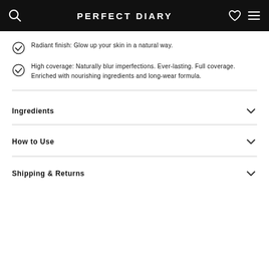PERFECT DIARY
Radiant finish: Glow up your skin in a natural way.
High coverage: Naturally blur imperfections. Ever-lasting. Full coverage. Enriched with nourishing ingredients and long-wear formula.
Ingredients
How to Use
Shipping & Returns